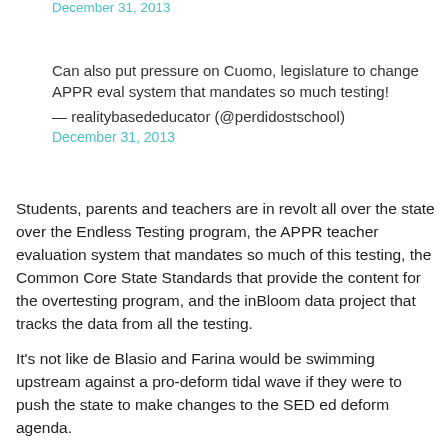December 31, 2013
Can also put pressure on Cuomo, legislature to change APPR eval system that mandates so much testing!
— realitybasededucator (@perdidostschool)
December 31, 2013
Students, parents and teachers are in revolt all over the state over the Endless Testing program, the APPR teacher evaluation system that mandates so much of this testing, the Common Core State Standards that provide the content for the overtesting program, and the inBloom data project that tracks the data from all the testing.
It's not like de Blasio and Farina would be swimming upstream against a pro-deform tidal wave if they were to push the state to make changes to the SED ed deform agenda.